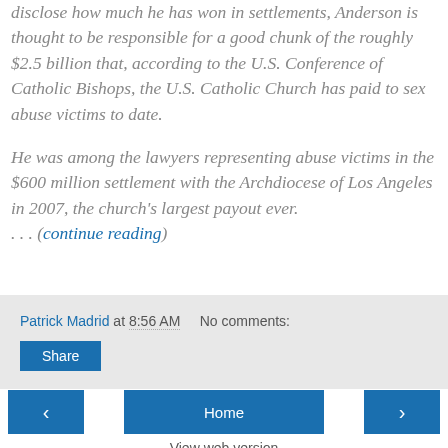disclose how much he has won in settlements, Anderson is thought to be responsible for a good chunk of the roughly $2.5 billion that, according to the U.S. Conference of Catholic Bishops, the U.S. Catholic Church has paid to sex abuse victims to date.
He was among the lawyers representing abuse victims in the $600 million settlement with the Archdiocese of Los Angeles in 2007, the church's largest payout ever. . . . (continue reading)
Patrick Madrid at 8:56 AM   No comments:
Share
‹   Home   ›
View web version